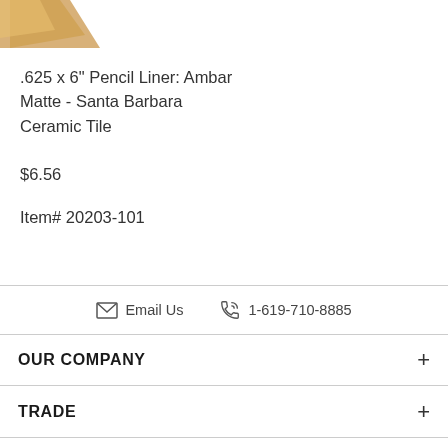[Figure (photo): Partial view of a ceramic tile product image, tan/gold colored tile piece visible at top left corner]
.625 x 6" Pencil Liner: Ambar Matte - Santa Barbara Ceramic Tile
$6.56
Item# 20203-101
✉ Email Us   📞 1-619-710-8885
OUR COMPANY +
TRADE +
SUPPORT +